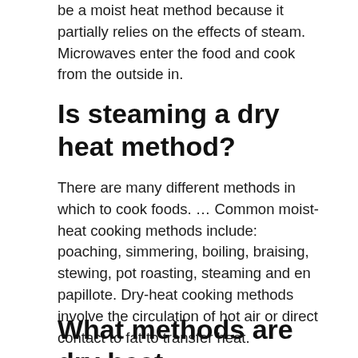be a moist heat method because it partially relies on the effects of steam. Microwaves enter the food and cook from the outside in.
Is steaming a dry heat method?
There are many different methods in which to cook foods. … Common moist-heat cooking methods include: poaching, simmering, boiling, braising, stewing, pot roasting, steaming and en papillote. Dry-heat cooking methods involve the circulation of hot air or direct contact to fat to transfer heat.
What methods are dry heat methods?